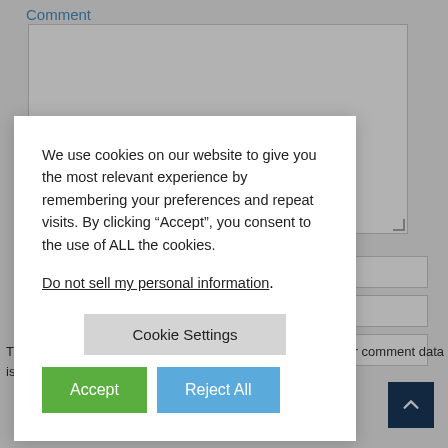Comment
[Figure (screenshot): Background page with comment textarea and input fields partially visible behind cookie consent modal]
We use cookies on our website to give you the most relevant experience by remembering your preferences and repeat visits. By clicking “Accept”, you consent to the use of ALL the cookies.
Do not sell my personal information.
Cookie Settings
Accept
Reject All
Th your comment data is